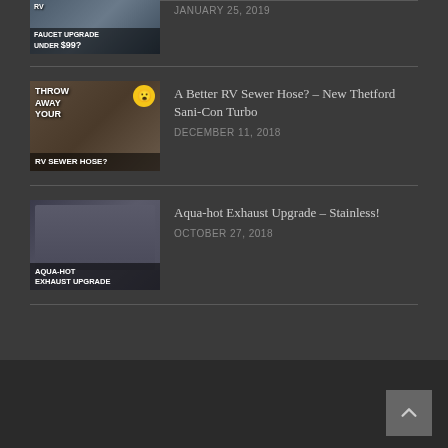[Figure (photo): Thumbnail image: RV Faucet Upgrade Under $99 video thumbnail]
JANUARY 25, 2019
[Figure (photo): Thumbnail image: Throw Away Your RV Sewer Hose? video thumbnail with emoji]
A Better RV Sewer Hose? – New Thetford Sani-Con Turbo
DECEMBER 11, 2018
[Figure (photo): Thumbnail image: Aqua-hot Exhaust Upgrade video thumbnail]
Aqua-hot Exhaust Upgrade – Stainless!
OCTOBER 27, 2018